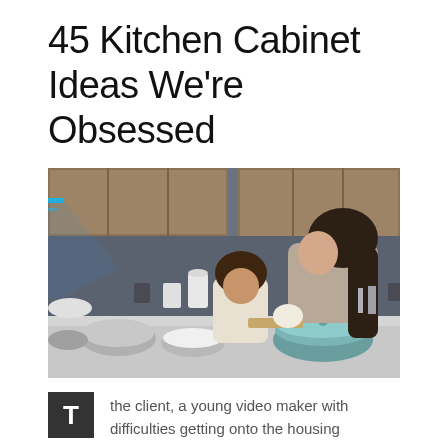45 Kitchen Cabinet Ideas We're Obsessed
[Figure (photo): A woman and a young girl touching foreheads in a modern kitchen with grey wood cabinets, cooking bowls and ingredients on the counter.]
the client, a young video maker with difficulties getting onto the housing